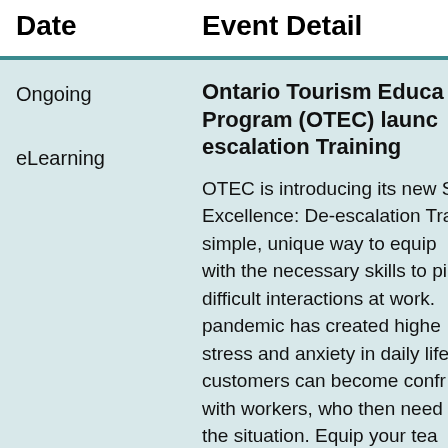| Date | Event Detail |
| --- | --- |
| Ongoing
eLearning | Ontario Tourism Educa… Program (OTEC) launc… escalation Training

OTEC is introducing its new S… Excellence: De-escalation Tra… simple, unique way to equip … with the necessary skills to pi… difficult interactions at work. … pandemic has created highe… stress and anxiety in daily life… customers can become confr… with workers, who then need … the situation. Equip your tea… skills, knowledge and tools tc… |